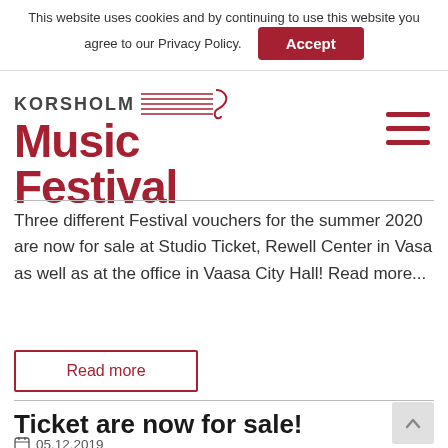This website uses cookies and by continuing to use this website you agree to our Privacy Policy.
Accept
[Figure (logo): Korsholm Music Festival logo in red with musical staff lines graphic]
Three different Festival vouchers for the summer 2020 are now for sale at Studio Ticket, Rewell Center in Vasa as well as at the office in Vaasa City Hall! Read more...
Read more
Ticket are now for sale!
05.12.2019